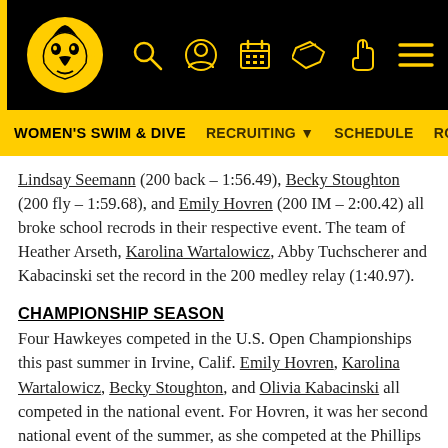Iowa Hawkeyes Women's Swim & Dive — website header with logo and navigation icons
WOMEN'S SWIM & DIVE  RECRUITING ▼  SCHEDULE  ROSTE
Lindsay Seemann (200 back – 1:56.49), Becky Stoughton (200 fly – 1:59.68), and Emily Hovren (200 IM – 2:00.42) all broke school recrods in their respective event. The team of Heather Arseth, Karolina Wartalowicz, Abby Tuchscherer and Kabacinski set the record in the 200 medley relay (1:40.97).
CHAMPIONSHIP SEASON
Four Hawkeyes competed in the U.S. Open Championships this past summer in Irvine, Calif. Emily Hovren, Karolina Wartalowicz, Becky Stoughton, and Olivia Kabacinski all competed in the national event. For Hovren, it was her second national event of the summer, as she competed at the Phillips 66 National